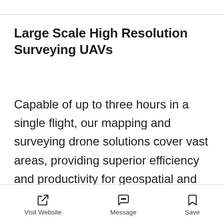Large Scale High Resolution Surveying UAVs
Capable of up to three hours in a single flight, our mapping and surveying drone solutions cover vast areas, providing superior efficiency and productivity for geospatial and aerial surveying professionals. Our high-precision data
Visit Website | Message | Save